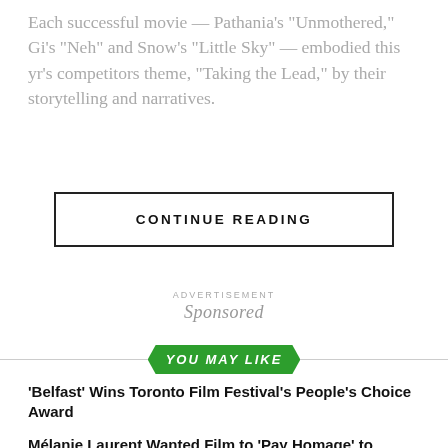Each successful movie — Pathania's 'Unmothered,' Gi's 'Neh' and Snow's 'Little Sky' — embodied this yr's competitors theme, 'Taking the Lead,' by their storytelling and narratives.
CONTINUE READING
ADVERTISEMENT
Sponsored
YOU MAY LIKE
'Belfast' Wins Toronto Film Festival's People's Choice Award
Mélanie Laurent Wanted Film to 'Pay Homage' to Women With
Christopher Nolan Is Shopping New Film About 'Father of the
Thandiwe Newton Reveals She Rejected 'Meh' Superhero Film
Vanessa Kirby Sets First-Look Film Deal With